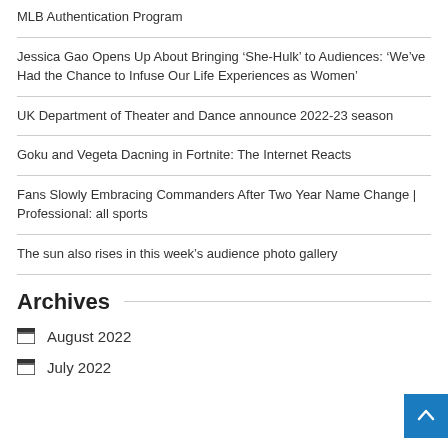MLB Authentication Program
Jessica Gao Opens Up About Bringing ‘She-Hulk’ to Audiences: ‘We’ve Had the Chance to Infuse Our Life Experiences as Women’
UK Department of Theater and Dance announce 2022-23 season
Goku and Vegeta Dacning in Fortnite: The Internet Reacts
Fans Slowly Embracing Commanders After Two Year Name Change | Professional: all sports
The sun also rises in this week’s audience photo gallery
Archives
August 2022
July 2022